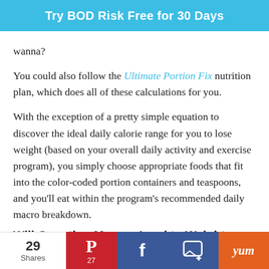Try BOD Risk Free for 30 Days
wanna?
You could also follow the Ultimate Portion Fix nutrition plan, which does all of these calculations for you.
With the exception of a pretty simple equation to discover the ideal daily calorie range for you to lose weight (based on your overall daily activity and exercise program), you simply choose appropriate foods that fit into the color-coded portion containers and teaspoons, and you'll eat within the program's recommended daily macro breakdown.
Will Counting Macros Lead to Weight Loss?
29 Shares  Pinterest 27  Facebook  SMS  Yum